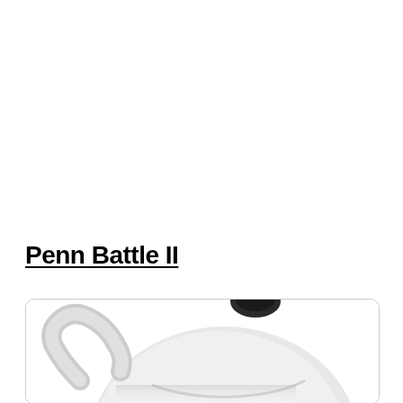Penn Battle II
[Figure (photo): Partial view of a Penn Battle II fishing reel, showing the top and side of the reel body in white/silver with a dark knob, cropped at the bottom of the page inside a rounded rectangle border.]